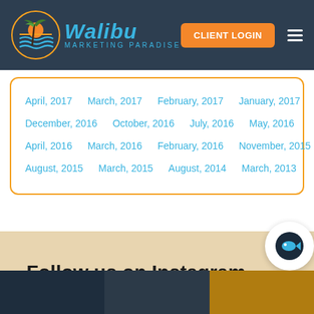Walibu Marketing Paradise — CLIENT LOGIN
April, 2017
March, 2017
February, 2017
January, 2017
December, 2016
October, 2016
July, 2016
May, 2016
April, 2016
March, 2016
February, 2016
November, 2015
August, 2015
March, 2015
August, 2014
March, 2013
Follow us on Instagram